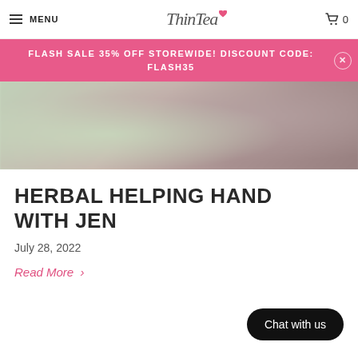MENU | ThinTea | 🛒 0
FLASH SALE 35% OFF STOREWIDE! DISCOUNT CODE: FLASH35
[Figure (photo): Blurred photo of a smiling person holding a product, partially visible]
HERBAL HELPING HAND WITH JEN
July 28, 2022
Read More >
Chat with us